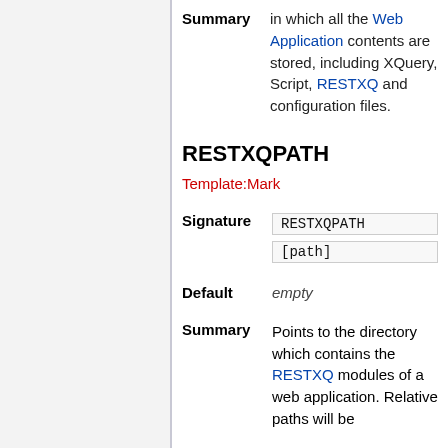in which all the Web Application contents are stored, including XQuery, Script, RESTXQ and configuration files.
RESTXQPATH
Template:Mark
|  |  |
| --- | --- |
| Signature | RESTXQPATH [path] |
| Default | empty |
| Summary | Points to the directory which contains the RESTXQ modules of a web application. Relative paths will be |